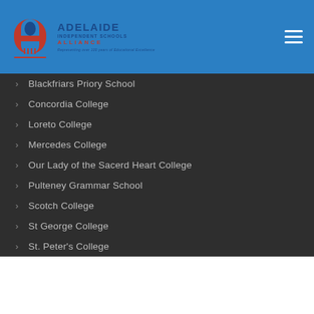[Figure (logo): Adelaide Independent Schools Alliance logo with red stylized A and blue text, tagline 'Representing over 100 years of Educational Excellence']
Blackfriars Priory School
Concordia College
Loreto College
Mercedes College
Our Lady of the Sacerd Heart College
Pulteney Grammar School
Scotch College
St George College
St. Peter's College